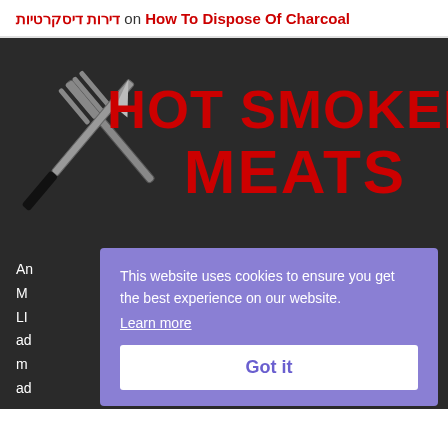דירות דיסקרטיות on How To Dispose Of Charcoal
[Figure (logo): Crossed knife and fork utensils logo with HOT SMOKED MEATS text on dark background]
An... M... LI... ad... m... ad...
This website uses cookies to ensure you get the best experience on our website. Learn more Got it